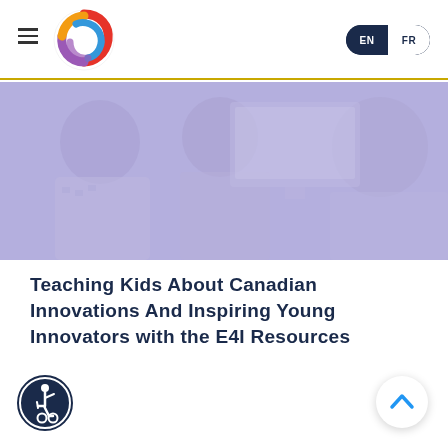EN | FR
[Figure (logo): Colorful circular logo with red, orange, yellow, green, blue swirl]
[Figure (photo): Two students (girls) looking at a computer monitor, photo has purple/lavender overlay tint]
Teaching Kids About Canadian Innovations And Inspiring Young Innovators with the E4I Resources